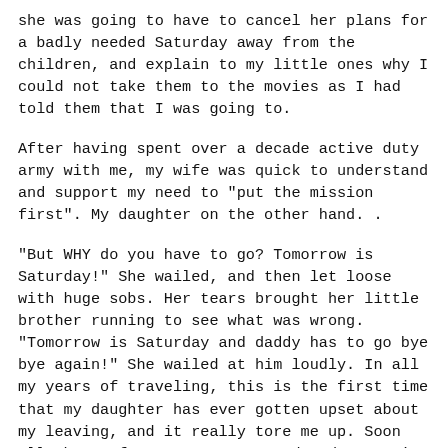she was going to have to cancel her plans for a badly needed Saturday away from the children, and explain to my little ones why I could not take them to the movies as I had told them that I was going to.
After having spent over a decade active duty army with me, my wife was quick to understand and support my need to "put the mission first". My daughter on the other hand. .
"But WHY do you have to go? Tomorrow is Saturday!" She wailed, and then let loose with huge sobs. Her tears brought her little brother running to see what was wrong. "Tomorrow is Saturday and daddy has to go bye bye again!" She wailed at him loudly. In all my years of traveling, this is the first time that my daughter has ever gotten upset about my leaving, and it really tore me up. Soon all three of us were teary eyed and I was in the unenviable position of trying to explain to two little people why I